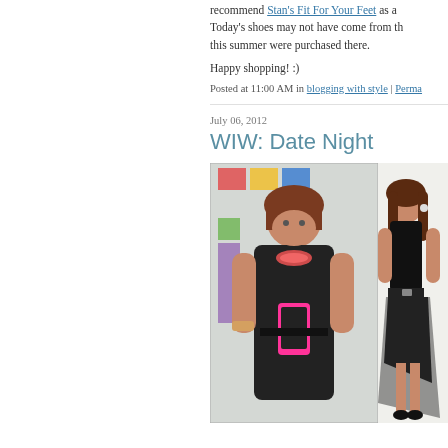recommend Stan's Fit For Your Feet as a. Today's shoes may not have come from th this summer were purchased there.
Happy shopping! :)
Posted at 11:00 AM in blogging with style | Perma
July 06, 2012
WIW: Date Night
[Figure (photo): Two side-by-side photos: left shows a woman in a black dress taking a mirror selfie with a pink phone; right shows a model wearing a similar black hi-low dress with a belt.]